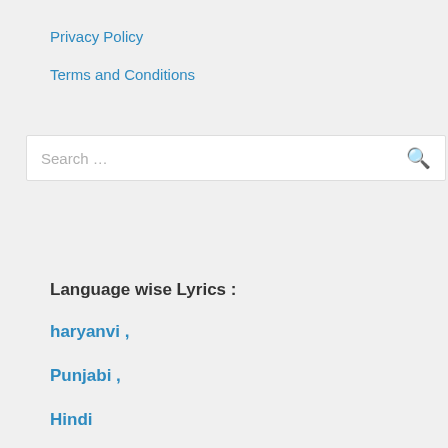Privacy Policy
Terms and Conditions
Search …
Language wise Lyrics :
haryanvi ,
Punjabi ,
Hindi